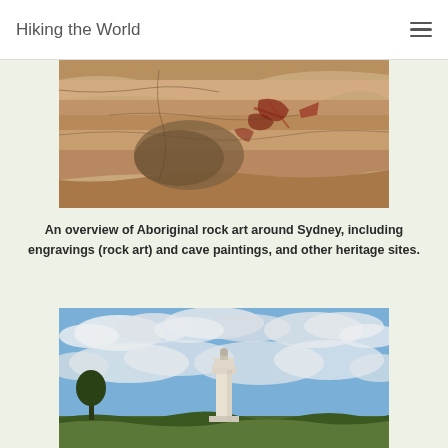Hiking the World
[Figure (photo): Close-up photograph of Aboriginal cave rock art showing red ochre pigment markings and engravings on sandstone rock surface]
An overview of Aboriginal rock art around Sydney, including engravings (rock art) and cave paintings, and other heritage sites.
[Figure (photo): Photograph of a trig station (concrete pillar) against a blue sky with clouds, with text overlay 'Trig Stations around Sydney']